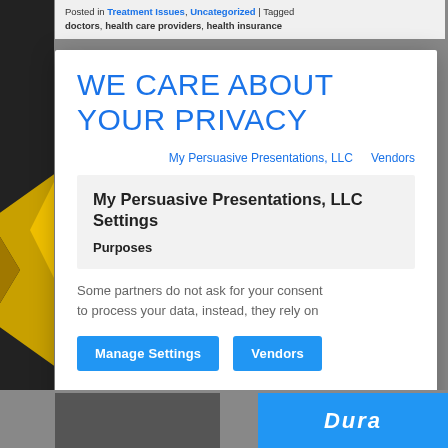Posted in Treatment Issues, Uncategorized | Tagged doctors, health care providers, health insurance
WE CARE ABOUT YOUR PRIVACY
My Persuasive Presentations, LLC   Vendors
My Persuasive Presentations, LLC Settings
Purposes
Some partners do not ask for your consent to process your data, instead, they rely on
Manage Settings   Vendors